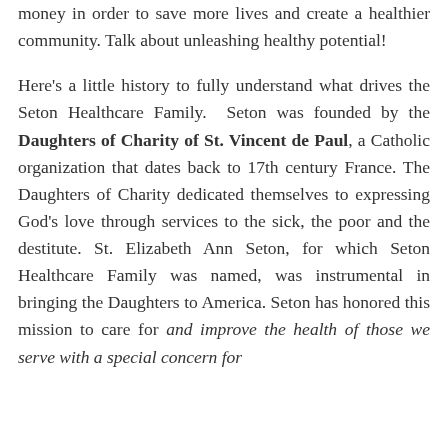money in order to save more lives and create a healthier community. Talk about unleashing healthy potential!
Here's a little history to fully understand what drives the Seton Healthcare Family. Seton was founded by the Daughters of Charity of St. Vincent de Paul, a Catholic organization that dates back to 17th century France. The Daughters of Charity dedicated themselves to expressing God's love through services to the sick, the poor and the destitute. St. Elizabeth Ann Seton, for which Seton Healthcare Family was named, was instrumental in bringing the Daughters to America. Seton has honored this mission to care for and improve the health of those we serve with a special concern for